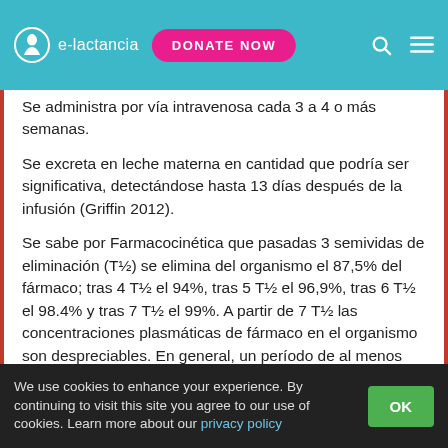e-lactancia | DONATE NOW
Se administra por vía intravenosa cada 3 a 4 o más semanas.
Se excreta en leche materna en cantidad que podría ser significativa, detectándose hasta 13 días después de la infusión (Griffin 2012).
Se sabe por Farmacocinética que pasadas 3 semividas de eliminación (T½) se elimina del organismo el 87,5% del fármaco; tras 4 T½ el 94%, tras 5 T½ el 96,9%, tras 6 T½ el 98.4% y tras 7 T½ el 99%. A partir de 7 T½ las concentraciones plasmáticas de fármaco en el organismo son despreciables. En general, un período de al menos cinco vidas medias puede considerarse un
We use cookies to enhance your experience. By continuing to visit this site you agree to our use of cookies. Learn more about our privacy policy | OK